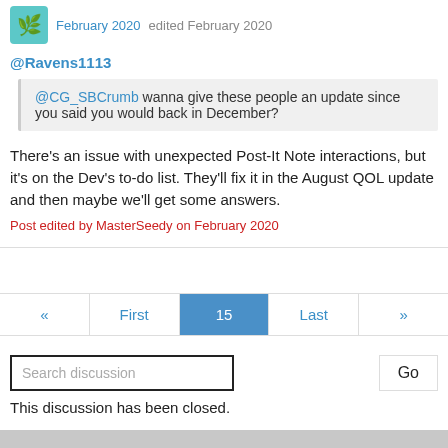February 2020 edited February 2020
@Ravens1113
@CG_SBCrumb wanna give these people an update since you said you would back in December?
There's an issue with unexpected Post-It Note interactions, but it's on the Dev's to-do list. They'll fix it in the August QOL update and then maybe we'll get some answers.
Post edited by MasterSeedy on February 2020
« First 15 Last »
Search discussion
Go
This discussion has been closed.